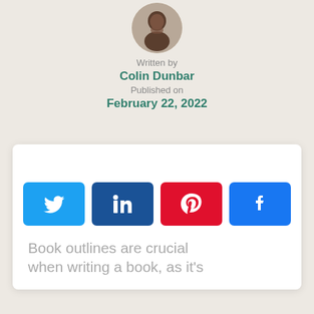[Figure (photo): Circular avatar photo of a man with hand near chin, cropped at top of page]
Written by
Colin Dunbar
Published on
February 22, 2022
[Figure (infographic): Social share buttons: Twitter (blue), LinkedIn (dark blue), Pinterest (red), Facebook (blue)]
Book outlines are crucial when writing a book, as it's